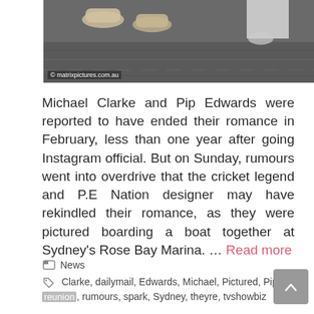[Figure (photo): Partial photo showing feet/shoes of people sitting, with matrixpictures.com.au watermark at bottom left]
Michael Clarke and Pip Edwards were reported to have ended their romance in February, less than one year after going Instagram official. But on Sunday, rumours went into overdrive that the cricket legend and P.E Nation designer may have rekindled their romance, as they were pictured boarding a boat together at Sydney's Rose Bay Marina. … Read more
News
Clarke, dailymail, Edwards, Michael, Pictured, Pip, reunion, rumours, spark, Sydney, theyre, tvshowbiz